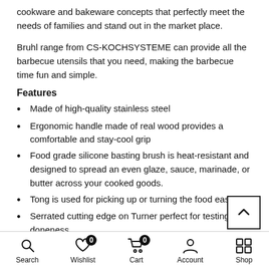cookware and bakeware concepts that perfectly meet the needs of families and stand out in the market place.
Bruhl range from CS-KOCHSYSTEME can provide all the barbecue utensils that you need, making the barbecue time fun and simple.
Features
Made of high-quality stainless steel
Ergonomic handle made of real wood provides a comfortable and stay-cool grip
Food grade silicone basting brush is heat-resistant and designed to spread an even glaze, sauce, marinade, or butter across your cooked goods.
Tong is used for picking up or turning the food easily
Serrated cutting edge on Turner perfect for testing for doneness
Search  Wishlist 0  Cart 0  Account  Shop